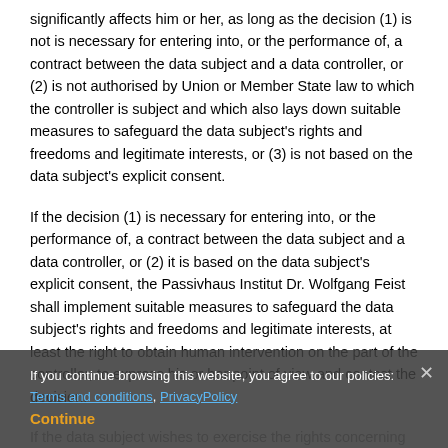significantly affects him or her, as long as the decision (1) is not is necessary for entering into, or the performance of, a contract between the data subject and a data controller, or (2) is not authorised by Union or Member State law to which the controller is subject and which also lays down suitable measures to safeguard the data subject's rights and freedoms and legitimate interests, or (3) is not based on the data subject's explicit consent.
If the decision (1) is necessary for entering into, or the performance of, a contract between the data subject and a data controller, or (2) it is based on the data subject's explicit consent, the Passivhaus Institut Dr. Wolfgang Feist shall implement suitable measures to safeguard the data subject's rights and freedoms and legitimate interests, at least the right to obtain human intervention on the part of the controller, to express his or her point of view and contest the decision.
If the data subject wishes to exercise the rights concerning automated ind... she may at any time directly contact our ...ection Officer of the Passivhaus Institut Dr. Wolfgang Feist...
If you continue browsing this website, you agree to our policies: Terms and conditions, PrivacyPolicy
Continue